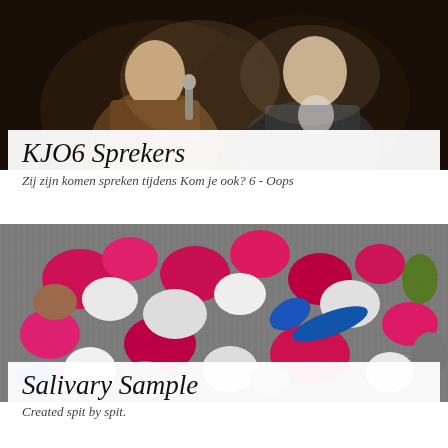[Figure (photo): Two men in suits talking on a dark stage, one holding a microphone]
KJO6 Sprekers
Zij zijn komen spreken tijdens Kom je ook? 6 - Oops
[Figure (photo): Close-up overhead view of colorful clay or paint blobs in pink/magenta, white, blue, and green colors on a grey textured surface]
Salivary Sample
Created spit by spit.